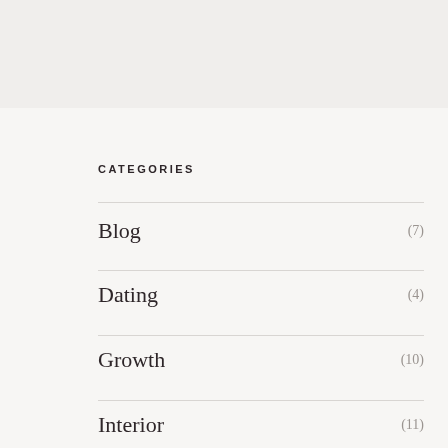CATEGORIES
Blog (7)
Dating (4)
Growth (10)
Interior (11)